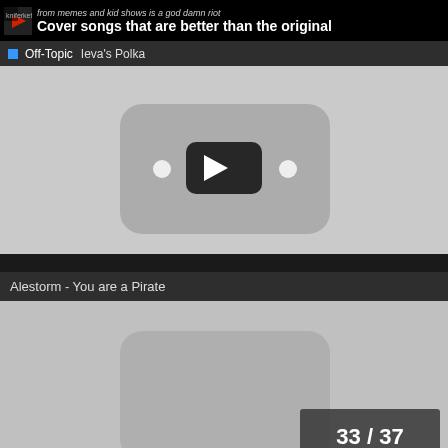Cover songs that are better than the original
from memes and kid shows is a god damn riot
Off-Topic
Ieva's Polka
[Figure (screenshot): YouTube-style video thumbnail with gray background and play button]
Alestorm - You are a Pirate
[Figure (screenshot): Second video thumbnail partially visible, with page counter 33 / 37 in bottom right]
33 / 37